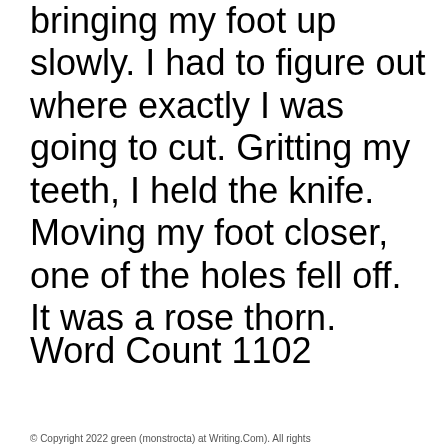bringing my foot up slowly. I had to figure out where exactly I was going to cut. Gritting my teeth, I held the knife. Moving my foot closer, one of the holes fell off. It was a rose thorn.
Word Count 1102
© Copyright 2022 green (monstrocta) at Writing.Com). All rights